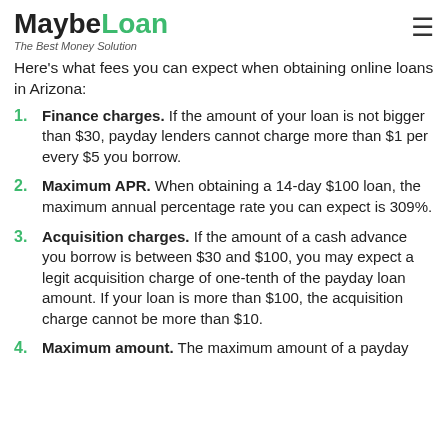MaybeLoan — The Best Money Solution
Here's what fees you can expect when obtaining online loans in Arizona:
Finance charges. If the amount of your loan is not bigger than $30, payday lenders cannot charge more than $1 per every $5 you borrow.
Maximum APR. When obtaining a 14-day $100 loan, the maximum annual percentage rate you can expect is 309%.
Acquisition charges. If the amount of a cash advance you borrow is between $30 and $100, you may expect a legit acquisition charge of one-tenth of the payday loan amount. If your loan is more than $100, the acquisition charge cannot be more than $10.
Maximum amount. The maximum amount of a payday